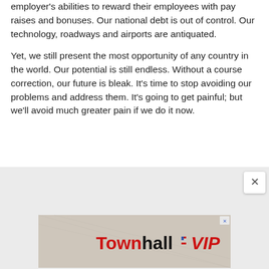employer's abilities to reward their employees with pay raises and bonuses. Our national debt is out of control. Our technology, roadways and airports are antiquated.
Yet, we still present the most opportunity of any country in the world. Our potential is still endless. Without a course correction, our future is bleak. It's time to stop avoiding our problems and address them. It's going to get painful; but we'll avoid much greater pain if we do it now.
[Figure (other): Advertisement banner for Townhall VIP with close button and ad choice icon]